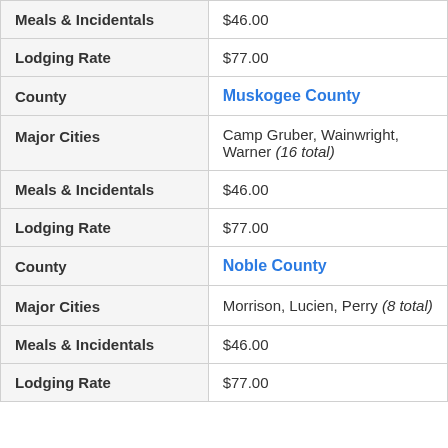| Field | Value |
| --- | --- |
| Meals & Incidentals | $46.00 |
| Lodging Rate | $77.00 |
| County | Muskogee County |
| Major Cities | Camp Gruber, Wainwright, Warner (16 total) |
| Meals & Incidentals | $46.00 |
| Lodging Rate | $77.00 |
| County | Noble County |
| Major Cities | Morrison, Lucien, Perry (8 total) |
| Meals & Incidentals | $46.00 |
| Lodging Rate | $77.00 |